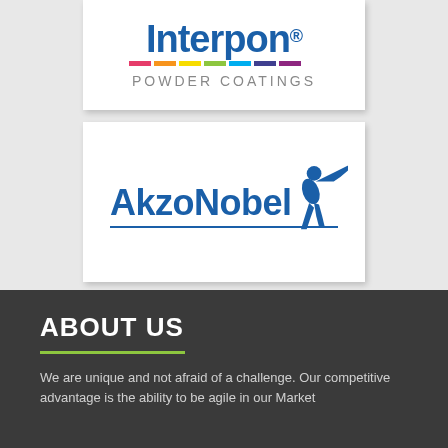[Figure (logo): Interpon Powder Coatings logo with colorful rainbow stripes beneath the brand name]
[Figure (logo): AkzoNobel logo with blue text and a stylized blue human figure reaching forward]
ABOUT US
We are unique and not afraid of a challenge. Our competitive advantage is the ability to be agile in our Market